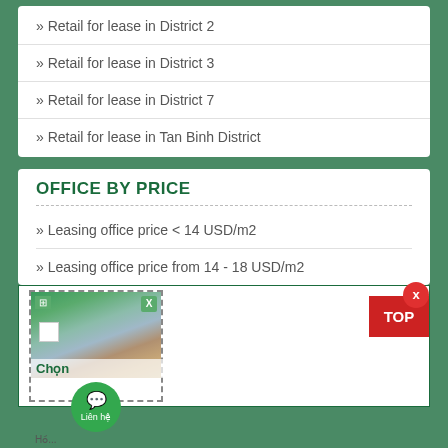» Retail for lease in District 2
» Retail for lease in District 3
» Retail for lease in District 7
» Retail for lease in Tan Binh District
OFFICE BY PRICE
» Leasing office price < 14 USD/m2
» Leasing office price from 14 - 18 USD/m2
[Figure (screenshot): Popup widget showing a building photo with chat/contact button labeled 'Liên hệ' and an X close button, plus a red TOP button in the upper right corner]